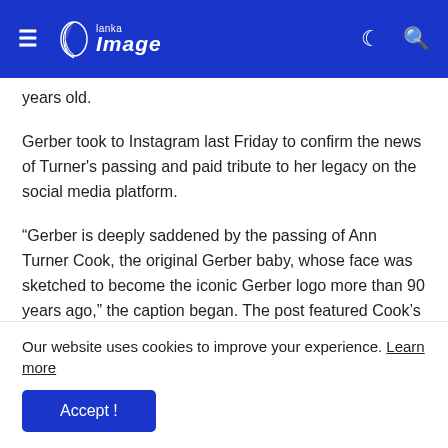Lanka Image
years old.
Gerber took to Instagram last Friday to confirm the news of Turner's passing and paid tribute to her legacy on the social media platform.
“Gerber is deeply saddened by the passing of Ann Turner Cook, the original Gerber baby, whose face was sketched to become the iconic Gerber logo more than 90 years ago,” the caption began. The post featured Cook’s iconic sketch from her Gerber baby days as well as a photo of herself smiling as an older woman.
Our website uses cookies to improve your experience. Learn more
Accept !